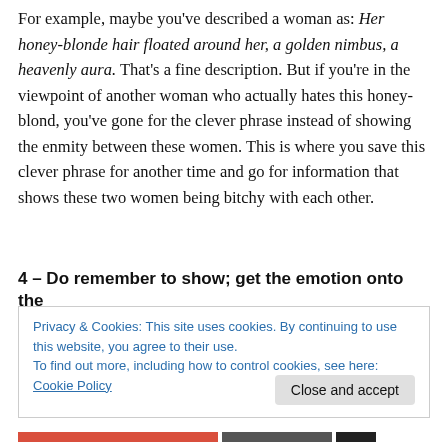For example, maybe you've described a woman as: Her honey-blonde hair floated around her, a golden nimbus, a heavenly aura. That's a fine description. But if you're in the viewpoint of another woman who actually hates this honey-blond, you've gone for the clever phrase instead of showing the enmity between these women. This is where you save this clever phrase for another time and go for information that shows these two women being bitchy with each other.
4 – Do remember to show; get the emotion onto the
Privacy & Cookies: This site uses cookies. By continuing to use this website, you agree to their use.
To find out more, including how to control cookies, see here: Cookie Policy
Close and accept